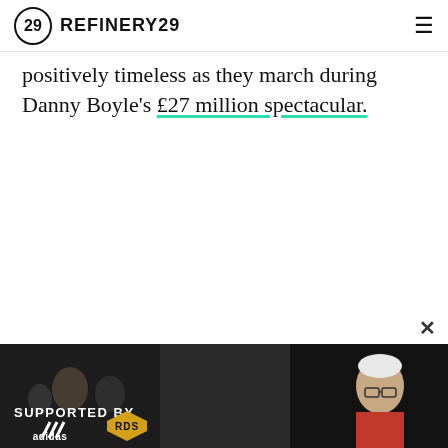REFINERY29
positively timeless as they march during Danny Boyle's £27 million spectacular.
[Figure (screenshot): Advertisement banner at the bottom of the page with dark background showing crowd of people. Text reads 'SUPPORTED BY' with Adidas and RDS logos.]